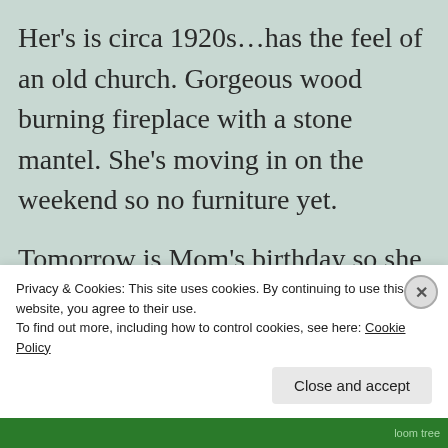Her's is circa 1920s…has the feel of an old church. Gorgeous wood burning fireplace with a stone mantel. She's moving in on the weekend so no furniture yet.
Tomorrow is Mom's birthday so she wanted to see most of her babies tonight!
I didn't have my camera and tried to capture the near full moon and tonight's sunset, with
Privacy & Cookies: This site uses cookies. By continuing to use this website, you agree to their use.
To find out more, including how to control cookies, see here: Cookie Policy
Close and accept